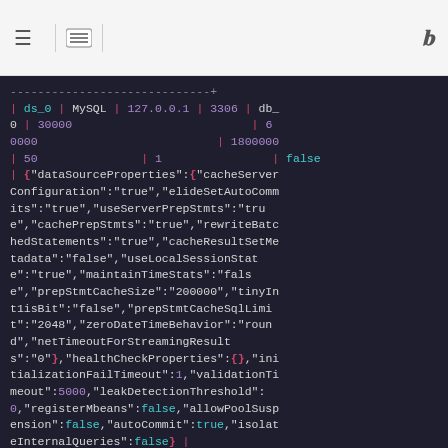Navigation bar with hamburger menu, list icon, and git icon
| ds_0 | MySQL | 127.0.0.1 | 3306 | db_0 | 30000 | 60000 | 1800000 | 50 | 1 | false | {"dataSourceProperties":{"cacheServerConfiguration":"true","elideSetAutoCommits":"true","useServerPrepStmts":"true","cachePrepStmts":"true","rewriteBatchedStatements":"true","cacheResultSetMetadata":"false","useLocalSessionState":"true","maintainTimeStats":"false","prepStmtCacheSize":"200000","tinyInt1isBit":"false","prepStmtCacheSqlLimit":"2048","zeroDateTimeBehavior":"round","netTimeoutForStreamingResults":"0"},"healthCheckProperties":{},"initializationFailTimeout":1,"validationTimeout":5000,"leakDetectionThreshold":0,"registerMbeans":false,"allowPoolSuspension":false,"autoCommit":true,"isolateInternalQueries":false} | | ds_1 | MySQL | 127.0.0.1 | 3306 | db